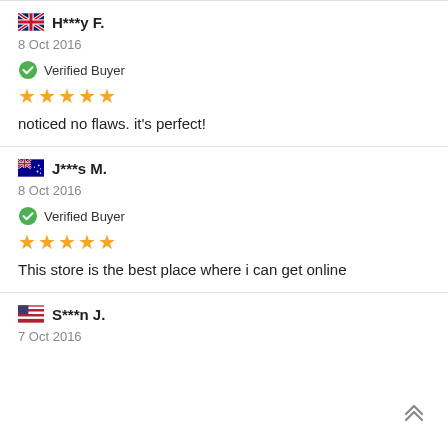H***y F.
8 Oct 2016
Verified Buyer
★★★★★
noticed no flaws. it's perfect!
J***s M.
8 Oct 2016
Verified Buyer
★★★★★
This store is the best place where i can get online
S***n J.
7 Oct 2016